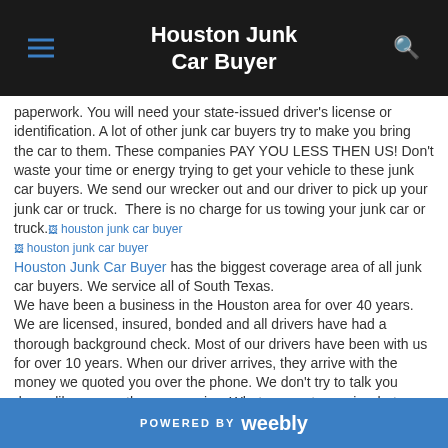Houston Junk Car Buyer
paperwork. You will need your state-issued driver's license or identification. A lot of other junk car buyers try to make you bring the car to them. These companies PAY YOU LESS THEN US! Don't waste your time or energy trying to get your vehicle to these junk car buyers. We send our wrecker out and our driver to pick up your junk car or truck.  There is no charge for us towing your junk car or truck. [houston junk car buyer image] [houston junk car buyer image] Houston Junk Car Buyer has the biggest coverage area of all junk car buyers. We service all of South Texas.
We have been a business in the Houston area for over 40 years. We are licensed, insured, bonded and all drivers have had a thorough background check. Most of our drivers have been with us for over 10 years. When our driver arrives, they arrive with the money we quoted you over the phone. We don't try to talk you down, like some other companies. What we quote you is what you receive!
We have the start of the art equipment to better take care of you and your vehicle. We recycle everything from your vehicle!
Houston Junk Car Buyer is here to  Take car of all of your Junk Car Needs!
POWERED BY weebly